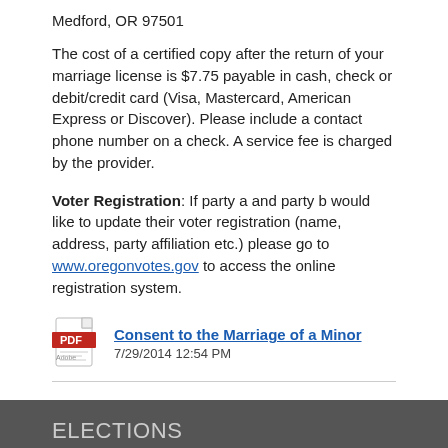Medford, OR 97501
The cost of a certified copy after the return of your marriage license is $7.75 payable in cash, check or debit/credit card (Visa, Mastercard, American Express or Discover). Please include a contact phone number on a check. A service fee is charged by the provider.
Voter Registration: If party a and party b would like to update their voter registration (name, address, party affiliation etc.) please go to www.oregonvotes.gov to access the online registration system.
[Figure (other): PDF document icon linking to 'Consent to the Marriage of a Minor', dated 7/29/2014 12:54 PM]
ELECTIONS
ELECTIONS OFFICE
1101 W. Main St., Suite 201
Medford, OR 97501